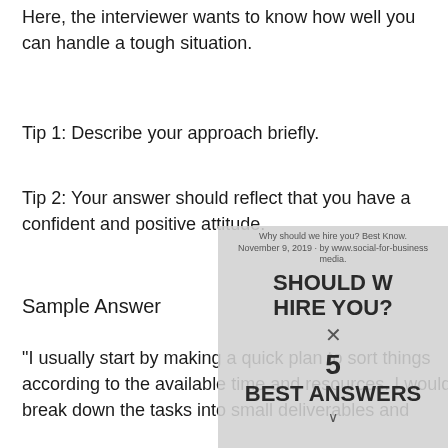Here, the interviewer wants to know how well you can handle a tough situation.
Tip 1: Describe your approach briefly.
Tip 2: Your answer should reflect that you have a confident and positive attitude.
Sample Answer
“I usually start by making a quick plan to sort things according to the available time and resources. I would break down the tasks into small deliverables and
[Figure (other): Advertisement overlay showing 'Why should we hire you? Best Answers' video thumbnail with text 'SHOULD WE HIRE YOU? 5 Best Answers' and a close (X) button, partially covering the text content.]